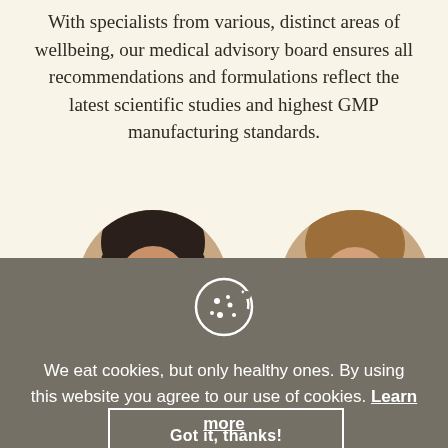With specialists from various, distinct areas of wellbeing, our medical advisory board ensures all recommendations and formulations reflect the latest scientific studies and highest GMP manufacturing standards.
[Figure (photo): Circular portrait photo of a dark-haired woman (left), partially cut off at bottom]
[Figure (photo): Circular portrait photo of a woman with glasses and light brown hair (right), partially cut off at bottom]
[Figure (illustration): Cookie icon (white outline of a cookie with dots) on grey background]
We eat cookies, but only healthy ones. By using this website you agree to our use of cookies. Learn more
Got it, thanks!